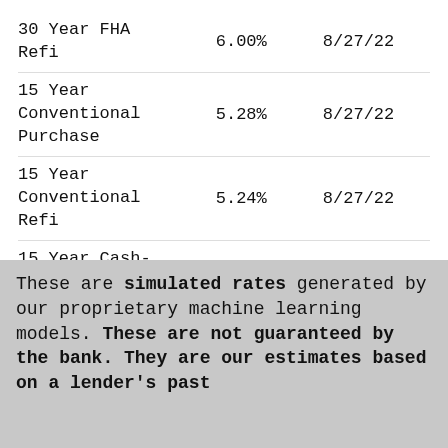| Product | Rate | Date |
| --- | --- | --- |
| 30 Year FHA Refi | 6.00% | 8/27/22 |
| 15 Year Conventional Purchase | 5.28% | 8/27/22 |
| 15 Year Conventional Refi | 5.24% | 8/27/22 |
| 15 Year Cash-out Refi | 5.24% | 8/27/22 |
| 15 Year FHA Purchase | 4.85% | 8/27/22 |
These are simulated rates generated by our proprietary machine learning models. These are not guaranteed by the bank. They are our estimates based on a lender's past...